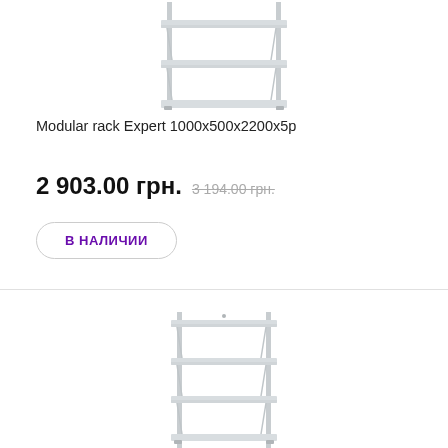[Figure (photo): Modular metal shelf/rack with multiple shelves, light gray color, top portion visible]
Modular rack Expert 1000x500x2200x5p
2 903.00 грн. 3 194.00 грн.
В НАЛИЧИИ
▲ TOP
[Figure (photo): Modular metal shelf/rack with 4 shelves, light gray color, bottom portion of page]